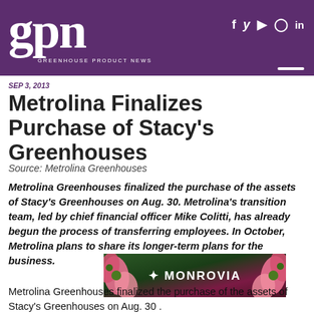gpn GREENHOUSE PRODUCT NEWS
SEP 3, 2013
Metrolina Finalizes Purchase of Stacy's Greenhouses
Source: Metrolina Greenhouses
Metrolina Greenhouses finalized the purchase of the assets of Stacy's Greenhouses on Aug. 30. Metrolina's transition team, led by chief financial officer Mike Colitti, has already begun the process of transferring employees. In October, Metrolina plans to share its longer-term plans for the business.
[Figure (photo): Monrovia advertisement banner with pink echinacea flowers and white Monrovia logo text on dark background]
Metrolina Greenhouses finalized the purchase of the assets of Stacy's Greenhouses on Aug. 30 .